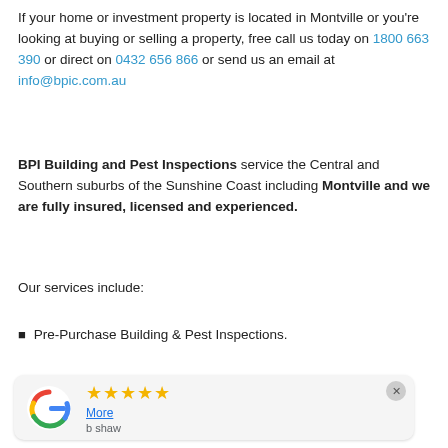If your home or investment property is located in Montville or you're looking at buying or selling a property, free call us today on 1800 663 390 or direct on 0432 656 866 or send us an email at info@bpic.com.au
BPI Building and Pest Inspections service the Central and Southern suburbs of the Sunshine Coast including Montville and we are fully insured, licensed and experienced.
Our services include:
Pre-Purchase Building & Pest Inspections.
[Figure (other): Google review card showing 5 yellow stars, a 'More' link, reviewer name 'b shaw', and the Google logo (multicolor G).]